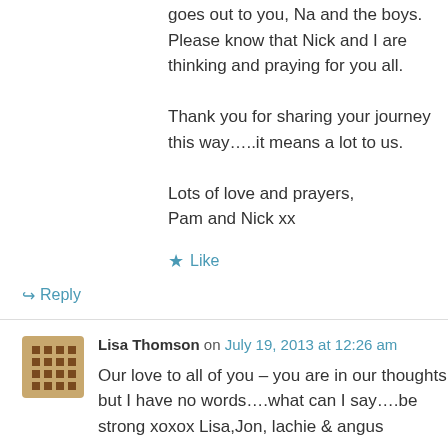goes out to you, Na and the boys. Please know that Nick and I are thinking and praying for you all.
Thank you for sharing your journey this way…..it means a lot to us.
Lots of love and prayers,
Pam and Nick xx
★ Like
↳ Reply
Lisa Thomson on July 19, 2013 at 12:26 am
Our love to all of you – you are in our thoughts but I have no words….what can I say….be strong xoxox Lisa,Jon, lachie & angus